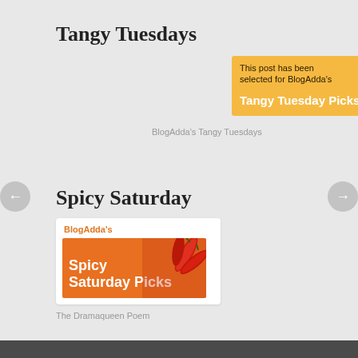Tangy Tuesdays
[Figure (illustration): BlogAdda's Tangy Tuesday Picks badge — orange/yellow background with text 'This post has been selected for BlogAdda's Tangy Tuesday Picks' and oranges graphic]
BlogAdda's Tangy Tuesdays
Spicy Saturday
[Figure (illustration): BlogAdda's Spicy Saturday Picks card — white card with orange label 'BlogAdda's' and orange image block showing 'Spicy Saturday Picks' with red chilies graphic]
The Dramaqueen Poem